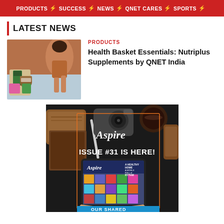PRODUCTS ⚡ SUCCESS ⚡ NEWS ⚡ QNET CARES ⚡ SPORTS ⚡
LATEST NEWS
[Figure (photo): Woman jogging with QNET Nutriplus health supplement products displayed in foreground]
PRODUCTS
Health Basket Essentials: Nutriplus Supplements by QNET India
[Figure (photo): Aspire magazine Issue #31 promotional image showing a tablet with the Aspire magazine cover on a dark desk with camera, notebook, coffee cup and leather wallet. Text reads 'Aspire ISSUE #31 IS HERE!' and 'OUR SHARED' at bottom.]